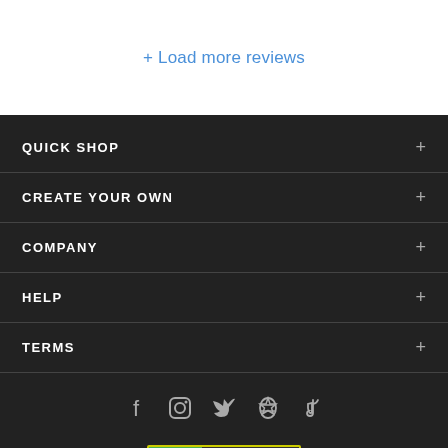+ Load more reviews
QUICK SHOP +
CREATE YOUR OWN +
COMPANY +
HELP +
TERMS +
[Figure (other): Social media icons: Facebook, Instagram, Twitter, Pinterest, TikTok]
[Figure (logo): DMCA PROTECTED badge with green DMCA label and dark PROTECTED label, yellow border]
Bottom strip with payment/trust icons